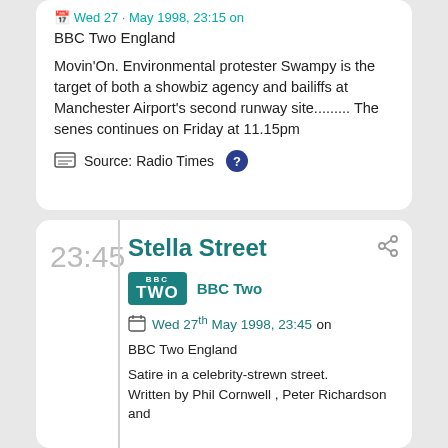BBC Two England
Movin'On. Environmental protester Swampy is the target of both a showbiz agency and bailiffs at Manchester Airport's second runway site......... The senes continues on Friday at 11.15pm
Source: Radio Times
23:45
Stella Street
BBC Two
Wed 27th May 1998, 23:45 on BBC Two England
Satire in a celebrity-strewn street.
Written by Phil Cornwell , Peter Richardson and